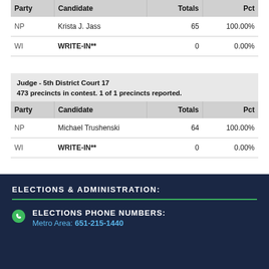| Party | Candidate | Totals | Pct |
| --- | --- | --- | --- |
| NP | Krista J. Jass | 65 | 100.00% |
| WI | WRITE-IN** | 0 | 0.00% |
Judge - 5th District Court 17
473 precincts in contest. 1 of 1 precincts reported.
| Party | Candidate | Totals | Pct |
| --- | --- | --- | --- |
| NP | Michael Trushenski | 64 | 100.00% |
| WI | WRITE-IN** | 0 | 0.00% |
ELECTIONS & ADMINISTRATION:
ELECTIONS PHONE NUMBERS:
Metro Area: 651-215-1440